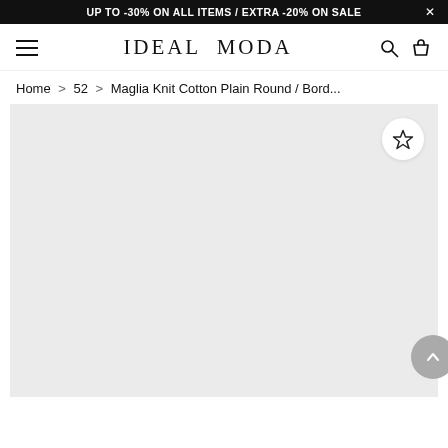UP TO -30% ON ALL ITEMS / EXTRA -20% ON SALE
IDEAL MODA
Home > 52 > Maglia Knit Cotton Plain Round / Bord...
[Figure (photo): Product image placeholder area (light gray background) with wishlist star icon button (circle, top right) and scroll-to-top arrow button (gray circle, bottom right)]